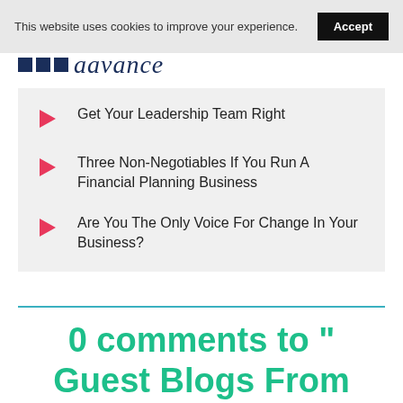This website uses cookies to improve your experience. Accept
[Figure (logo): aavance logo with three dark navy squares and italic script text]
Get Your Leadership Team Right
Three Non-Negotiables If You Run A Financial Planning Business
Are You The Only Voice For Change In Your Business?
0 comments to " Guest Blogs From